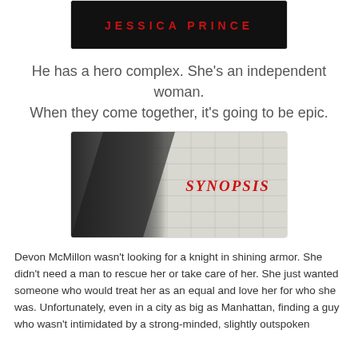[Figure (photo): Book cover image with author name JESSICA PRINCE on dark background]
He has a hero complex. She's an independent woman.
When they come together, it's going to be epic.
[Figure (photo): Black and white image of a couple embracing with the word SYNOPSIS in red letters overlaid on a blueprint background]
Devon McMillon wasn't looking for a knight in shining armor. She didn't need a man to rescue her or take care of her. She just wanted someone who would treat her as an equal and love her for who she was. Unfortunately, even in a city as big as Manhattan, finding a guy who wasn't intimidated by a strong-minded, slightly outspoken